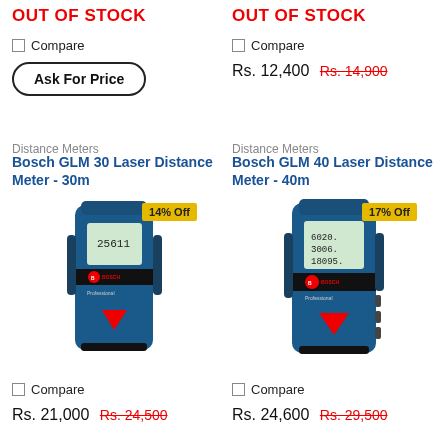OUT OF STOCK
OUT OF STOCK
Compare
Compare
Ask For Price
Rs. 12,400  Rs. 14,900
Distance Meters
Distance Meters
Bosch GLM 30 Laser Distance Meter - 30m
Bosch GLM 40 Laser Distance Meter - 40m
[Figure (photo): Bosch GLM 30 Laser Distance Meter product photo with 14% Off badge]
[Figure (photo): Bosch GLM 40 Laser Distance Meter product photo with 17% Off badge]
Compare
Compare
Rs. 21,000  Rs. 24,500
Rs. 24,600  Rs. 29,500